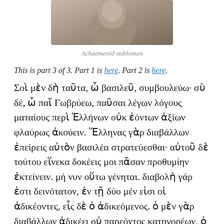[Figure (photo): Photograph of an Achaemenid nobleman bust/sculpture, partially visible at top of page]
Achaemenid nobleman
This is part 3 of 3. Part 1 is here. Part 2 is here.
Σοὶ μὲν δὴ ταῦτα, ὦ βασιλεῦ, συμβουλεύω· σὺ δέ, ὦ παῖ Γωβρύεω, παῦσαι λέγων λόγους ματαίους περὶ Ἑλλήνων οὐκ ἐόντων ἀξίων φλαύρως ἀκούειν. Ἕλληνας γὰρ διαβάλλων ἐπείρεις αὐτὸν βασιλέα στρατεύεσθαι· αὐτοῦ δὲ τούτου εἵνεκα δοκέεις μοι πᾶσαν προθυμίην ἐκτείνειν. μή νυν οὕτω γένηται. διαβολὴ γάρ ἐστι δεινότατον, ἐν τῇ δύο μέν εἰσι οἱ ἀδικέοντες, εἷς δὲ ὁ ἀδικεόμενος. ὁ μὲν γὰρ διαβάλλων ἀδικέει οὐ παρεόντος κατηγορέων, ὁ δὲ ἀδικέει ἀναπειθόμενος πρὶν ἢ ἀτρεκέως ἐκμάθῃ· ὁ